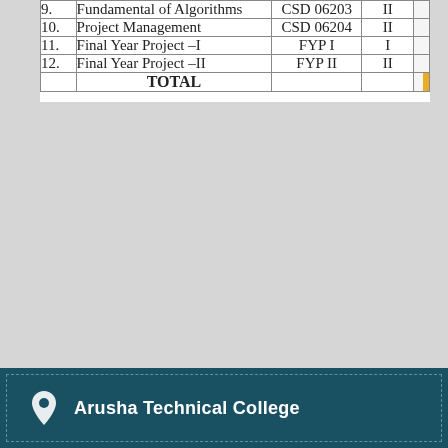| No. | Course Name | Code | Semester |  |
| --- | --- | --- | --- | --- |
| 9. | Fundamental of Algorithms | CSD 06203 | II |  |
| 10. | Project Management | CSD 06204 | II |  |
| 11. | Final Year Project –I | FYP I | I |  |
| 12. | Final Year Project –II | FYP II | II |  |
|  | TOTAL |  |  |  |
Arusha Technical College